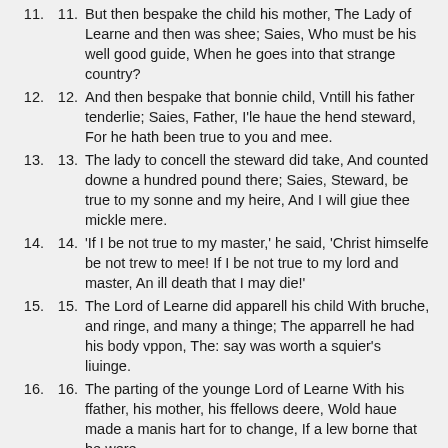11. But then bespake the child his mother, The Lady of Learne and then was shee; Saies, Who must be his well good guide, When he goes into that strange country?
12. And then bespake that bonnie child, Vntill his father tenderlie; Saies, Father, I'le haue the hend steward, For he hath been true to you and mee.
13. The lady to concell the steward did take, And counted downe a hundred pound there; Saies, Steward, be true to my sonne and my heire, And I will giue thee mickle mere.
14. 'If I be not true to my master,' he said, 'Christ himselfe be not trew to mee! If I be not true to my lord and master, An ill death that I may die!'
15. The Lord of Learne did apparell his child With bruche, and ringe, and many a thinge; The apparrell he had his body vppon, The: say was worth a squier's liuinge.
16. The parting of the younge Lord of Learne With his ffather, his mother, his ffellows deere, Wold haue made a manis hart for to change, If a lew borne that he were.
17. The wind did serue, and the: did sayle Over the sea into Ffrance land; He vsed the child soe hardlie, He wold let him haue neuer a penny to spend.